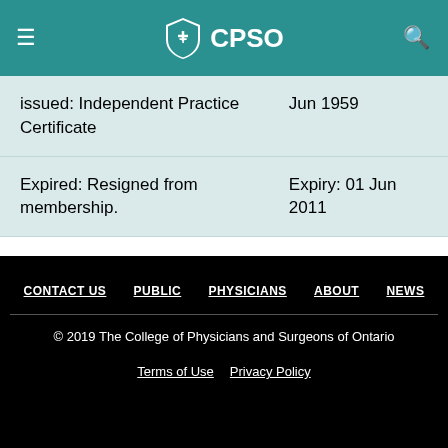CPSO
| Certificate Type | Date |
| --- | --- |
| issued: Independent Practice Certificate | Jun 1959 |
| Expired: Resigned from membership. | Expiry: 01 Jun 2011 |
CONTACT US   PUBLIC   PHYSICIANS   ABOUT   NEWS
© 2019 The College of Physicians and Surgeons of Ontario
Terms of Use   Privacy Policy